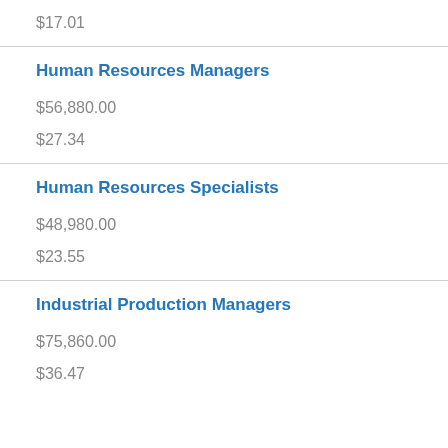$17.01
Human Resources Managers
$56,880.00
$27.34
Human Resources Specialists
$48,980.00
$23.55
Industrial Production Managers
$75,860.00
$36.47